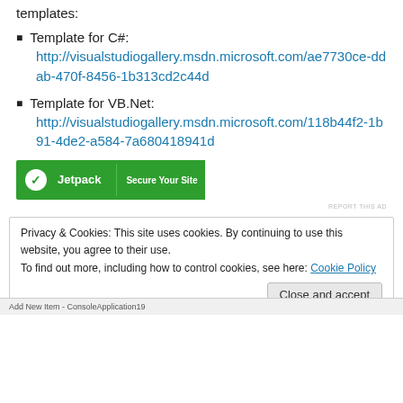templates:
Template for C#:
http://visualstudiogallery.msdn.microsoft.com/ae7730ce-ddab-470f-8456-1b313cd2c44d
Template for VB.Net:
http://visualstudiogallery.msdn.microsoft.com/118b44f2-1b91-4de2-a584-7a680418941d
[Figure (screenshot): Jetpack advertisement banner with 'Secure Your Site' text on green background]
REPORT THIS AD
Privacy & Cookies: This site uses cookies. By continuing to use this website, you agree to their use.
To find out more, including how to control cookies, see here: Cookie Policy
Close and accept
[Figure (screenshot): Add New Item - ConsoleApplication19 dialog bar at bottom]